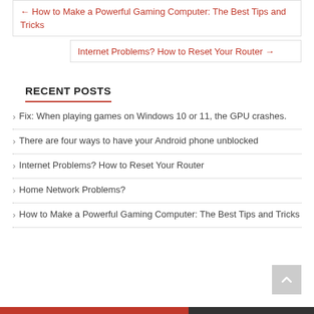← How to Make a Powerful Gaming Computer: The Best Tips and Tricks
Internet Problems? How to Reset Your Router →
RECENT POSTS
Fix: When playing games on Windows 10 or 11, the GPU crashes.
There are four ways to have your Android phone unblocked
Internet Problems? How to Reset Your Router
Home Network Problems?
How to Make a Powerful Gaming Computer: The Best Tips and Tricks